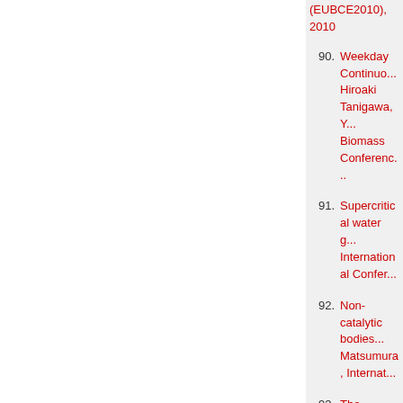(EUBCE2010), 2010
90. Weekday Continuous... Hiroaki Tanigawa, Y... Biomass Conference...
91. Supercritical water g... International Confer...
92. Non-catalytic bodies... Matsumura, Internat...
93. The mathematical m... Miura, Akihisa Kita,... Nakashimada, The 5... 미미, 미미, Kuala Lumpur
94. The suppressive effe... Hiroaki Tanigawa, Y... Conference on Rene... Malaysia
95. Char suppression ot... Goto, Shuhei Inoue,... Conference on Rene... Malaysia
96. Continuous producti... Yukihiko Matsumura... 12미08미, 미미, 미미, Kuala...